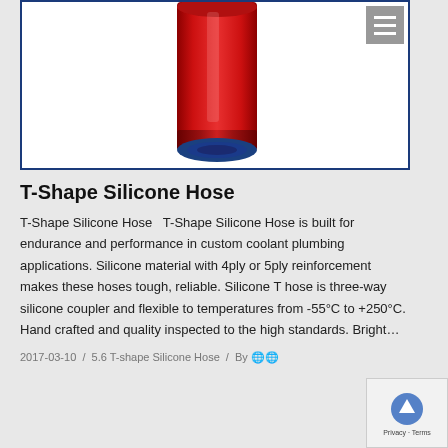[Figure (photo): Red T-Shape silicone hose shown from top angle, with blue interior visible at the bottom opening]
T-Shape Silicone Hose
T-Shape Silicone Hose   T-Shape Silicone Hose is built for endurance and performance in custom coolant plumbing applications. Silicone material with 4ply or 5ply reinforcement makes these hoses tough, reliable. Silicone T hose is three-way silicone coupler and flexible to temperatures from -55°C to +250°C. Hand crafted and quality inspected to the high standards. Bright…
2017-03-10  /  5.6 T-shape Silicone Hose  /  By